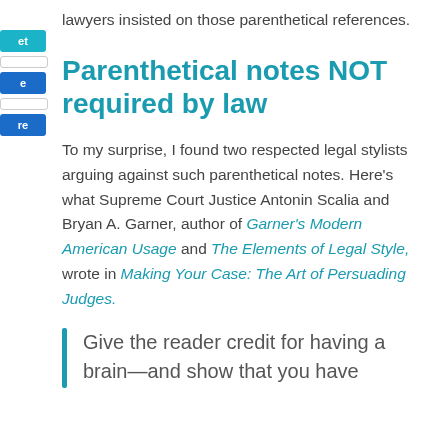lawyers insisted on those parenthetical references.
Parenthetical notes NOT required by law
To my surprise, I found two respected legal stylists arguing against such parenthetical notes. Here's what Supreme Court Justice Antonin Scalia and Bryan A. Garner, author of Garner's Modern American Usage and The Elements of Legal Style, wrote in Making Your Case: The Art of Persuading Judges.
Give the reader credit for having a brain—and show that you have